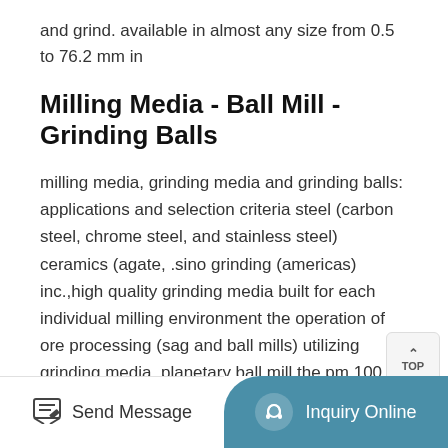and grind. available in almost any size from 0.5 to 76.2 mm in
Milling Media - Ball Mill - Grinding Balls
milling media, grinding media and grinding balls: applications and selection criteria steel (carbon steel, chrome steel, and stainless steel) ceramics (agate, .sino grinding (americas) inc.,high quality grinding media built for each individual milling environment the operation of ore processing (sag and ball mills) utilizing grinding media..planetary ball mill,the pm 100 planetary ball mill is a benchtop unit designed to pulverize soft, fibrous and brittle description: grinding balls, stainless steel, 10 mm
Grinding Balls And Accessories